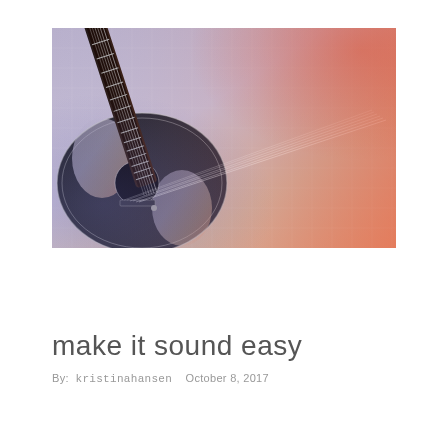[Figure (photo): A black acoustic guitar lying on a textured woven fabric surface, photographed from above at an angle. The image has a warm reddish-orange color cast in the upper right and a cool blue-purple tone in the lower left, giving it a vintage or filtered look. The guitar neck extends diagonally toward the upper right.]
make it sound easy
By:  kristinahansen    October 8, 2017